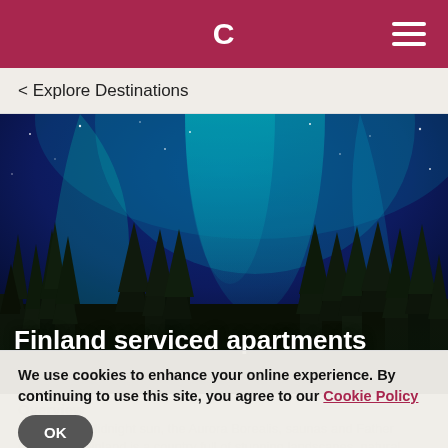C [logo] [hamburger menu]
< Explore Destinations
[Figure (photo): Aurora Borealis (Northern Lights) over a forest of evergreen trees at night, with vivid turquoise and blue light rays in the sky against a starry night backdrop.]
Finland serviced apartments
Overview
Land of the Midnight sun, the Aurora Borealis, saunas and Father Christmas, Finland is a country full of stunning landscapes, natural beauty and absolutely loads to offer
We use cookies to enhance your online experience. By continuing to use this site, you agree to our Cookie Policy
OK